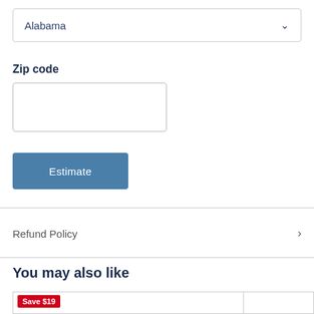Alabama
Zip code
Estimate
Refund Policy
You may also like
Save $19